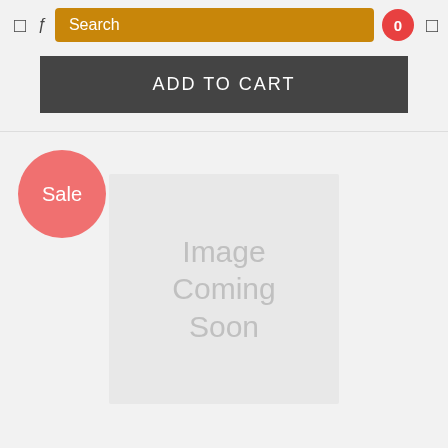Search
ADD TO CART
[Figure (other): Sale badge circle with text 'Sale' and product image placeholder showing 'Image Coming Soon']
Waxed Cotton, (same as glazed cotton), Good Quality Indian, Black, 0.5mm, 100 meter spool (1 spool)